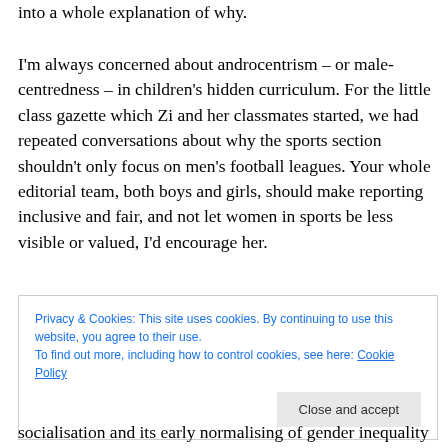into a whole explanation of why.
I'm always concerned about androcentrism – or male-centredness – in children's hidden curriculum. For the little class gazette which Zi and her classmates started, we had repeated conversations about why the sports section shouldn't only focus on men's football leagues. Your whole editorial team, both boys and girls, should make reporting inclusive and fair, and not let women in sports be less visible or valued, I'd encourage her.
Privacy & Cookies: This site uses cookies. By continuing to use this website, you agree to their use.
To find out more, including how to control cookies, see here: Cookie Policy
socialisation and its early normalising of gender inequality